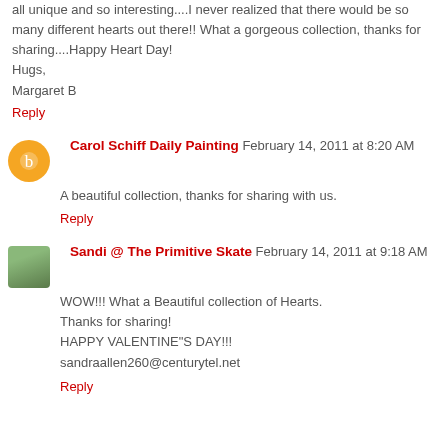all unique and so interesting....I never realized that there would be so many different hearts out there!! What a gorgeous collection, thanks for sharing....Happy Heart Day! Hugs, Margaret B
Reply
Carol Schiff Daily Painting  February 14, 2011 at 8:20 AM
A beautiful collection, thanks for sharing with us.
Reply
Sandi @ The Primitive Skate  February 14, 2011 at 9:18 AM
WOW!!! What a Beautiful collection of Hearts.
Thanks for sharing!
HAPPY VALENTINE"S DAY!!!
sandraallen260@centurytel.net
Reply